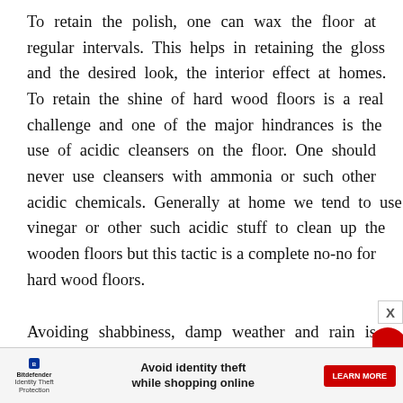To retain the polish, one can wax the floor at regular intervals. This helps in retaining the gloss and the desired look, the interior effect at homes. To retain the shine of hard wood floors is a real challenge and one of the major hindrances is the use of acidic cleansers on the floor. One should never use cleansers with ammonia or such other acidic chemicals. Generally at home we tend to use vinegar or other such acidic stuff to clean up the wooden floors but this tactic is a complete no-no for hard wood floors.
Avoiding shabbiness, damp weather and rain is imperative. Moisture or rather excess of moisture
[Figure (other): Advertisement banner at the bottom of the page: Bitdefender Identity Theft Protection logo on the left, text 'Avoid identity theft while shopping online' in the center, red 'LEARN MORE' button on the right. An X close button is visible in the top right corner of the ad.]